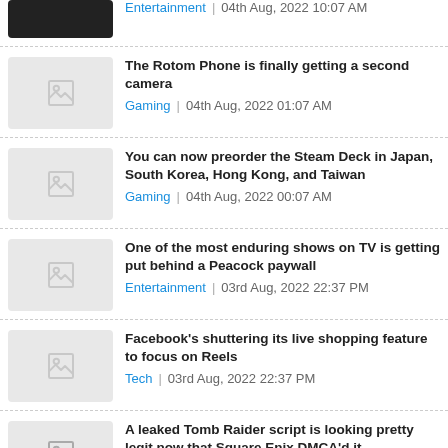Entertainment | 04th Aug, 2022 10:07 AM
The Rotom Phone is finally getting a second camera | Gaming | 04th Aug, 2022 01:07 AM
You can now preorder the Steam Deck in Japan, South Korea, Hong Kong, and Taiwan | Gaming | 04th Aug, 2022 00:07 AM
One of the most enduring shows on TV is getting put behind a Peacock paywall | Entertainment | 03rd Aug, 2022 22:37 PM
Facebook's shuttering its live shopping feature to focus on Reels | Tech | 03rd Aug, 2022 22:37 PM
A leaked Tomb Raider script is looking pretty legit now that Square Enix DMCA'd it